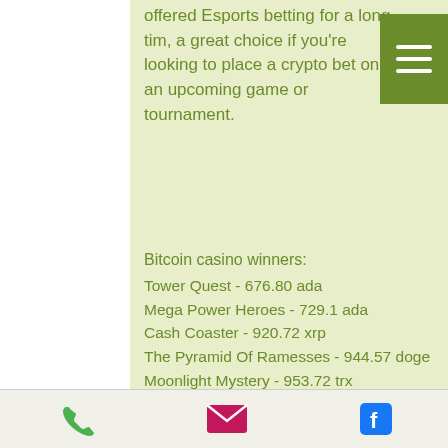offered Esports betting for a long tim, a great choice if you're looking to place a crypto bet on an upcoming game or tournament.
Bitcoin casino winners:
Tower Quest - 676.80 ada
Mega Power Heroes - 729.1 ada
Cash Coaster - 920.72 xrp
The Pyramid Of Ramesses - 944.57 doge
Moonlight Mystery - 953.72 trx
Dolphins Treasure - 316.96 doge
Party Time - 988.21 ada
Atomic Age - 673.76 dot
Roman Legion Extreme - 268.74 eth
La Dolce Vita Golden Nights - 372.93 ltc
Sinbad - 759.12 eth
Big Chef - 379.38 usdt
Phone | Email | Facebook